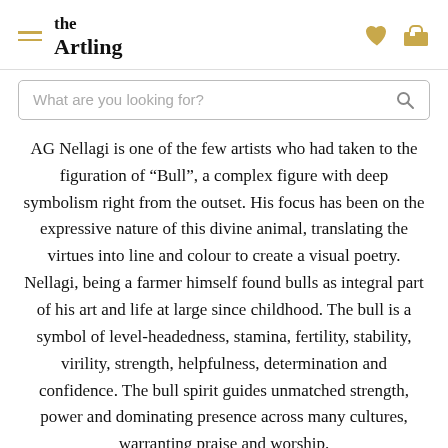the Artling
AG Nellagi is one of the few artists who had taken to the figuration of “Bull”, a complex figure with deep symbolism right from the outset. His focus has been on the expressive nature of this divine animal, translating the virtues into line and colour to create a visual poetry. Nellagi, being a farmer himself found bulls as integral part of his art and life at large since childhood. The bull is a symbol of level-headedness, stamina, fertility, stability, virility, strength, helpfulness, determination and confidence. The bull spirit guides unmatched strength, power and dominating presence across many cultures, warranting praise and worship. In his paintings, beautiful gestures and postures of